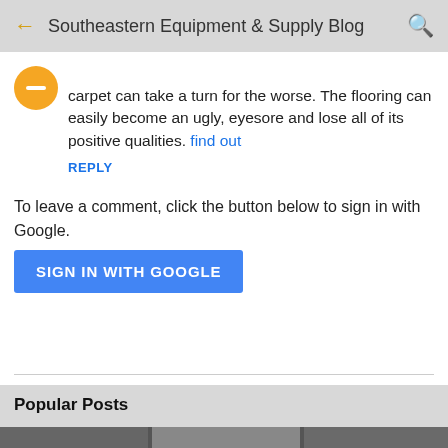← Southeastern Equipment & Supply Blog 🔍
carpet can take a turn for the worse. The flooring can easily become an ugly, eyesore and lose all of its positive qualities. find out
REPLY
To leave a comment, click the button below to sign in with Google.
SIGN IN WITH GOOGLE
Popular Posts